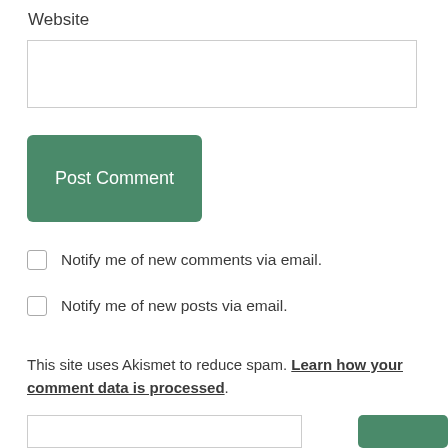Website
[input box — Website field]
Post Comment
Notify me of new comments via email.
Notify me of new posts via email.
This site uses Akismet to reduce spam. Learn how your comment data is processed.